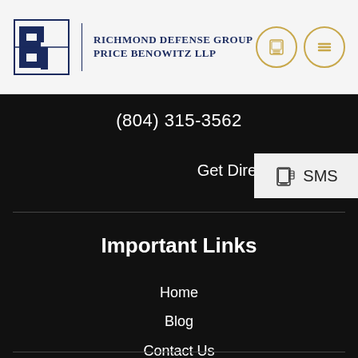[Figure (logo): Richmond Defense Group / Price Benowitz LLP logo with PB monogram in navy blue and law firm name]
(804) 315-3562
Get Directions
SMS
Important Links
Home
Blog
Contact Us
Reckless Driving